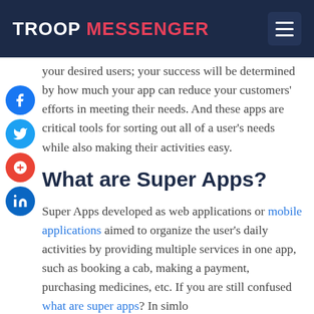TROOP MESSENGER
your desired users; your success will be determined by how much your app can reduce your customers' efforts in meeting their needs. And these apps are critical tools for sorting out all of a user's needs while also making their activities easy.
What are Super Apps?
Super Apps developed as web applications or mobile applications aimed to organize the user's daily activities by providing multiple services in one app, such as booking a cab, making a payment, purchasing medicines, etc. If you are still confused what are super apps? In simlo